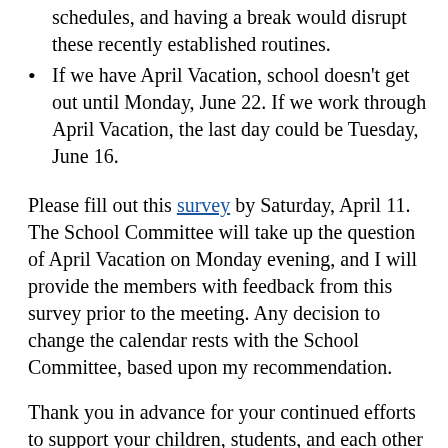schedules, and having a break would disrupt these recently established routines.
If we have April Vacation, school doesn't get out until Monday, June 22.  If we work through April Vacation, the last day could be Tuesday, June 16.
Please fill out this survey by Saturday, April 11.  The School Committee will take up the question of April Vacation on Monday evening, and I will provide the members with feedback from this survey prior to the meeting. Any decision to change the calendar rests with the School Committee, based upon my recommendation.
Thank you in advance for your continued efforts to support your children, students, and each other during this period of physical isolation.  Your well-being and spirit are most important, and we are here to help you in whatever way we can.
Dede Galdston, Ed.D., Superintendent of Schools
P.S. I have four children, all participating in remote learning. Two in eighth grade, a junior, and a freshman in college...